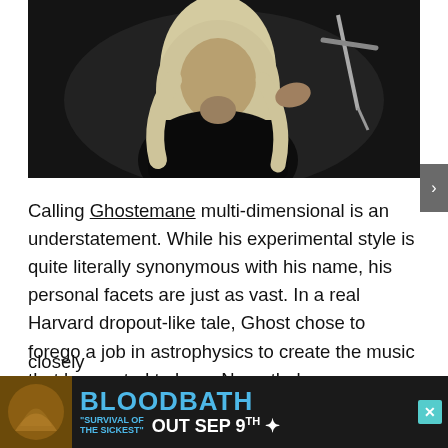[Figure (photo): Dark photo of a tattooed person with long white/blonde hair wearing a black hoodie, holding what appears to be a sword or dagger, against a dark background.]
Calling Ghostemane multi-dimensional is an understatement. While his experimental style is quite literally synonymous with his name, his personal facets are just as vast. In a real Harvard dropout-like tale, Ghost chose to forego a job in astrophysics to create the music that he wanted to hear. Nevertheless, humanity's position within the stratosphere and its surrounding theory is a realm that Ghost has not completely abandoned when it comes to his artistic approach. He puts his money where his mouth is in terms of knowledge of different philos... closely...
[Figure (other): Advertisement banner for Bloodbath 'Survival of the Sickest' album release, Out Sep 9th. Dark background with blue text and album artwork.]